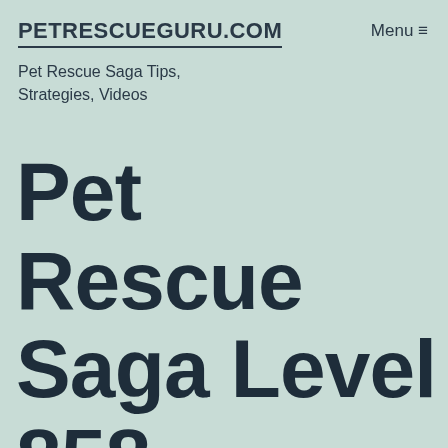PETRESCUEGURU.COM  Menu ≡
Pet Rescue Saga Tips, Strategies, Videos
Pet Rescue Saga Level 858